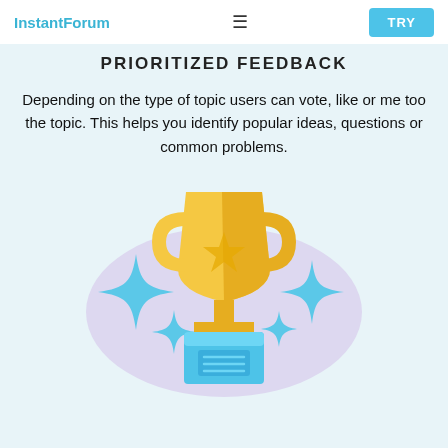InstantForum  ☰  TRY
PRIORITIZED FEEDBACK
Depending on the type of topic users can vote, like or me too the topic. This helps you identify popular ideas, questions or common problems.
[Figure (illustration): Gold trophy cup with blue sparkle stars on a light purple oval background, sitting on a blue pedestal base with horizontal lines on a plaque]